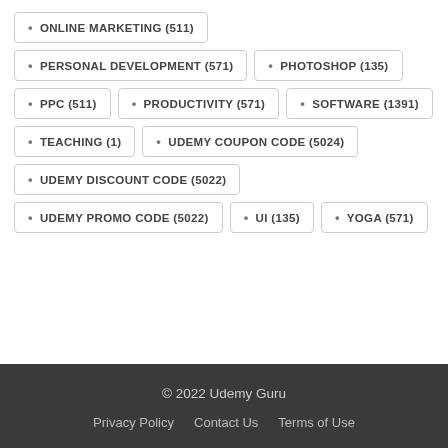ONLINE MARKETING (511)
PERSONAL DEVELOPMENT (571)
PHOTOSHOP (135)
PPC (511)
PRODUCTIVITY (571)
SOFTWARE (1391)
TEACHING (1)
UDEMY COUPON CODE (5024)
UDEMY DISCOUNT CODE (5022)
UDEMY PROMO CODE (5022)
UI (135)
YOGA (571)
© 2022 Udemy Guru   Privacy Policy   Contact Us   Terms of Use